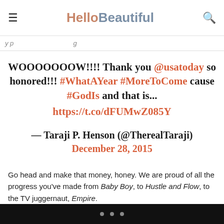HelloBeautiful
WOOOOOOOW!!!! Thank you @usatoday so honored!!! #WhatAYear #MoreToCome cause #GodIs and that is... https://t.co/dFUMwZ085Y
— Taraji P. Henson (@TherealTaraji) December 28, 2015
Go head and make that money, honey. We are proud of all the progress you've made from Baby Boy, to Hustle and Flow, to the TV juggernaut, Empire.